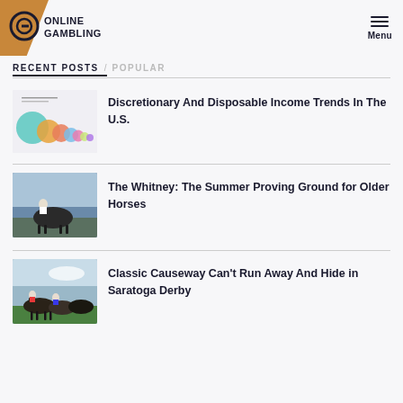ONLINE GAMBLING
RECENT POSTS / POPULAR
[Figure (infographic): Thumbnail image showing colorful bubble/circle chart about discretionary and disposable income trends]
Discretionary And Disposable Income Trends In The U.S.
[Figure (photo): Photo of a jockey on a horse at a racetrack]
The Whitney: The Summer Proving Ground for Older Horses
[Figure (photo): Photo of horse racing at Saratoga Derby]
Classic Causeway Can’t Run Away And Hide in Saratoga Derby